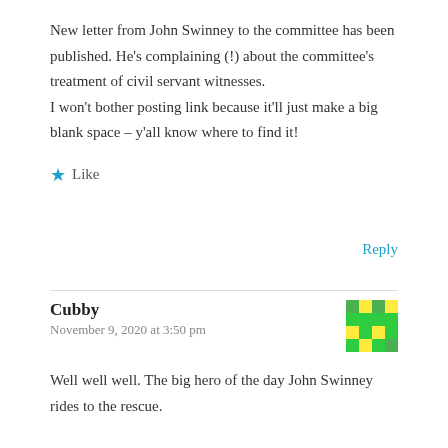New letter from John Swinney to the committee has been published. He's complaining (!) about the committee's treatment of civil servant witnesses. I won't bother posting link because it'll just make a big blank space – y'all know where to find it!
★ Like
Reply
Cubby
November 9, 2020 at 3:50 pm
Well well well. The big hero of the day John Swinney rides to the rescue.